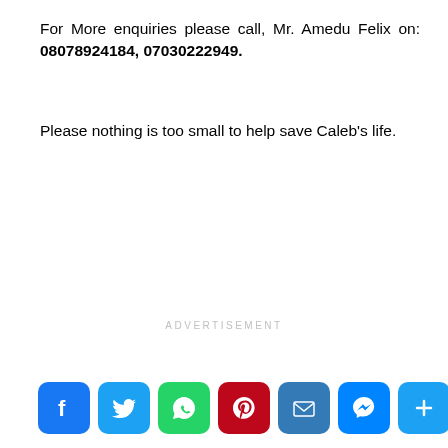For More enquiries please call, Mr. Amedu Felix on: 08078924184, 07030222949.
Please nothing is too small to help save Caleb's life.
ADVERTISEMENT
[Figure (infographic): Social media share buttons: Facebook, Twitter, WhatsApp, Pinterest, Email, Messenger, More]